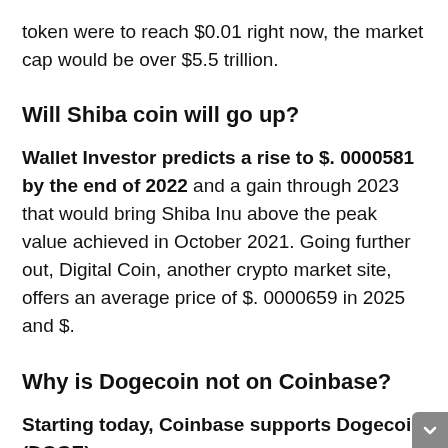token were to reach $0.01 right now, the market cap would be over $5.5 trillion.
Will Shiba coin will go up?
Wallet Investor predicts a rise to $. 0000581 by the end of 2022 and a gain through 2023 that would bring Shiba Inu above the peak value achieved in October 2021. Going further out, Digital Coin, another crypto market site, offers an average price of $. 0000659 in 2025 and $.
Why is Dogecoin not on Coinbase?
Starting today, Coinbase supports Dogecoin (DOGE)